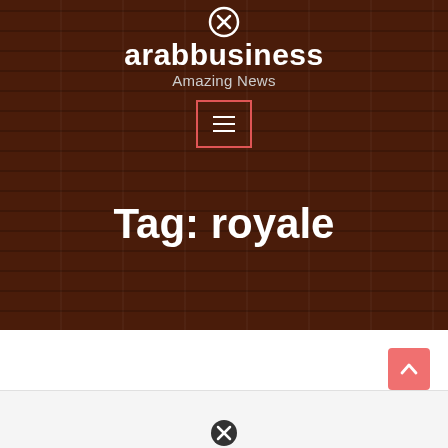[Figure (screenshot): Website header with wood-texture dark brown background]
arabbusiness
Amazing News
[Figure (other): Menu button with three horizontal lines, red border]
Tag: royale
[Figure (other): Scroll-to-top button, salmon/pink color with upward arrow]
[Figure (other): Close/cancel circle icon at bottom of page]